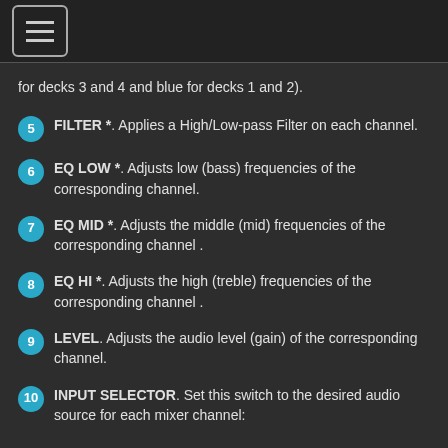[menu icon]
for decks 3 and 4 and blue for decks 1 and 2).
5 FILTER *. Applies a High/Low-pass Filter on each channel.
6 EQ LOW *. Adjusts low (bass) frequencies of the corresponding channel.
7 EQ MID *. Adjusts the middle (mid) frequencies of the corresponding channel .
8 EQ HI *. Adjusts the high (treble) frequencies of the corresponding channel .
9 LEVEL. Adjusts the audio level (gain) of the corresponding channel.
10 INPUT SELECTOR. Set this switch to the desired audio source for each mixer channel:
- USB (a track playing on that layer in VirtualDJ). Set all 4